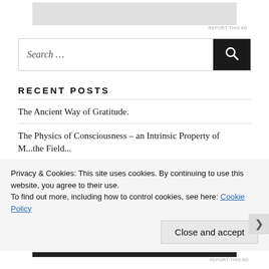[Figure (other): Gray advertisement placeholder rectangle at top]
REPORT THIS AD
[Figure (other): Search bar with text 'Search ...' and black search button with magnifying glass icon]
RECENT POSTS
The Ancient Way of Gratitude.
The Physics of Consciousness – an Intrinsic Property of M...the Field...
Privacy & Cookies: This site uses cookies. By continuing to use this website, you agree to their use.
To find out more, including how to control cookies, see here: Cookie Policy
Close and accept